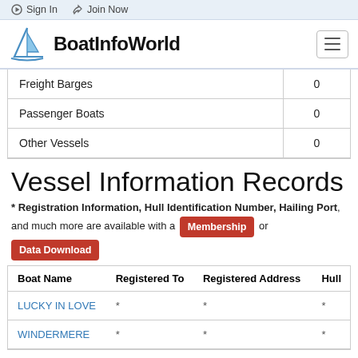Sign In   Join Now
[Figure (logo): BoatInfoWorld logo with sailboat icon and hamburger menu button]
|  |  |
| --- | --- |
| Freight Barges | 0 |
| Passenger Boats | 0 |
| Other Vessels | 0 |
Vessel Information Records
* Registration Information, Hull Identification Number, Hailing Port, and much more are available with a [Membership] or [Data Download]
| Boat Name | Registered To | Registered Address | Hull |
| --- | --- | --- | --- |
| LUCKY IN LOVE | * | * | * |
| WINDERMERE | * | * | * |